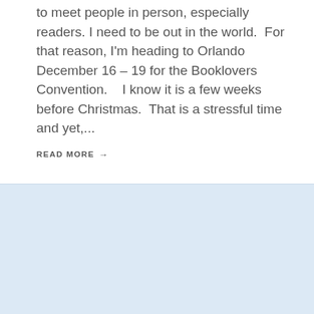to meet people in person, especially readers. I need to be out in the world.  For that reason, I'm heading to Orlando December 16 – 19 for the Booklovers Convention.    I know it is a few weeks before Christmas.  That is a stressful time and yet,...
READ MORE →